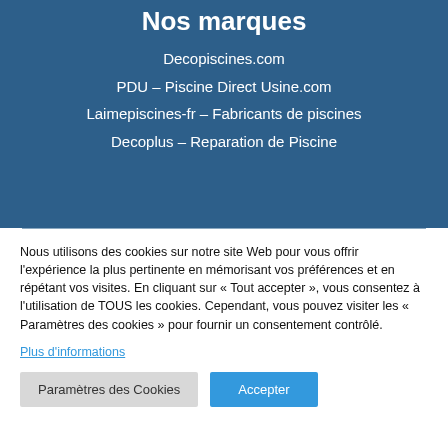Nos marques
Decopiscines.com
PDU – Piscine Direct Usine.com
Laimepiscines-fr – Fabricants de piscines
Decoplus – Reparation de Piscine
Nous utilisons des cookies sur notre site Web pour vous offrir l'expérience la plus pertinente en mémorisant vos préférences et en répétant vos visites. En cliquant sur « Tout accepter », vous consentez à l'utilisation de TOUS les cookies. Cependant, vous pouvez visiter les « Paramètres des cookies » pour fournir un consentement contrôlé. Plus d'informations
Paramètres des Cookies | Accepter